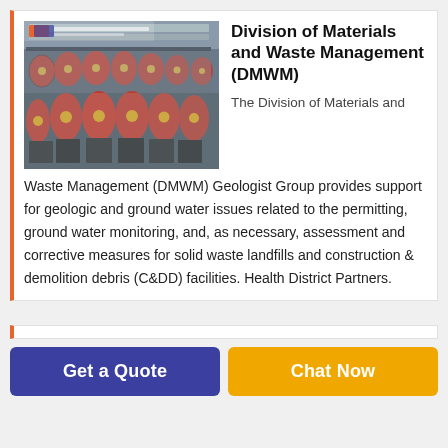[Figure (photo): Photo of industrial machinery/equipment with red fan-like components wrapped in plastic, arranged in rows in a warehouse or factory setting.]
Division of Materials and Waste Management (DMWM)
The Division of Materials and Waste Management (DMWM) Geologist Group provides support for geologic and ground water issues related to the permitting, ground water monitoring, and, as necessary, assessment and corrective measures for solid waste landfills and construction & demolition debris (C&DD) facilities. Health District Partners.
Get a Quote
Chat Now